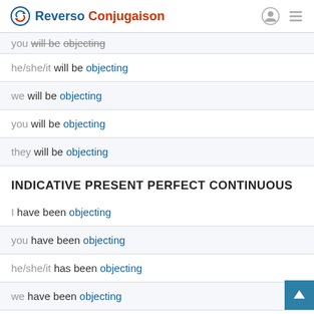Reverso Conjugaison
you will be objecting
he/she/it will be objecting
we will be objecting
you will be objecting
they will be objecting
INDICATIVE PRESENT PERFECT CONTINUOUS
I have been objecting
you have been objecting
he/she/it has been objecting
we have been objecting